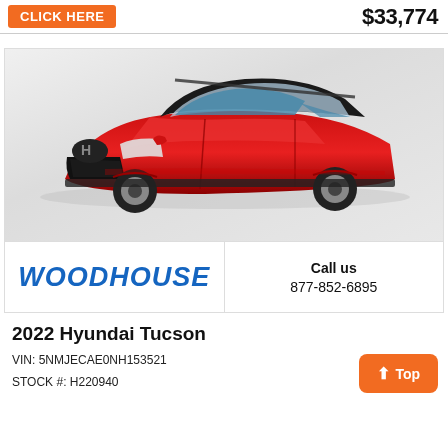$33,774
[Figure (photo): Red 2022 Hyundai Tucson SUV photographed from the front-left angle in a white studio/showroom setting]
WOODHOUSE
Call us
877-852-6895
2022 Hyundai Tucson
VIN: 5NMJECAE0NH153521
STOCK #: H220940